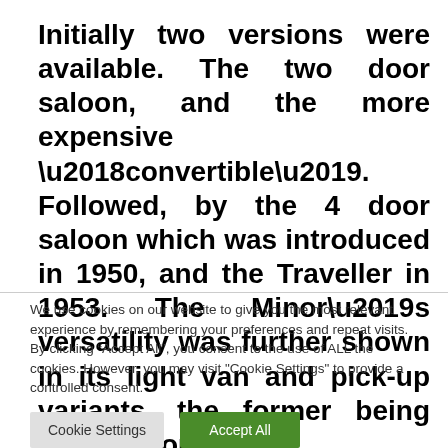Initially two versions were available. The two door saloon, and the more expensive ‘convertible’. Followed, by the 4 door saloon which was introduced in 1950, and the Traveller in 1953. The Minor’s versatility was further shown in its light van and pick-up variants, the former being much favoured by
We use cookies on our website to give you the most relevant experience by remembering your preferences and repeat visits. By clicking “Accept All”, you consent to the use of ALL the cookies. However, you may visit "Cookie Settings" to provide a controlled consent.